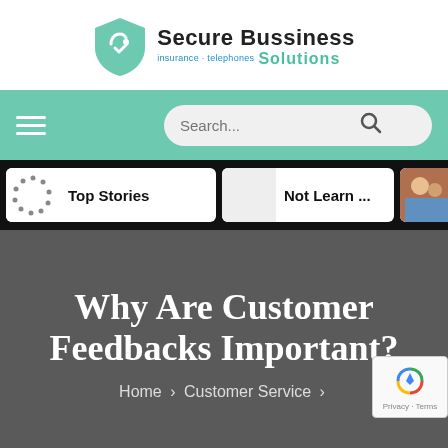[Figure (logo): Secure Bussiness Solutions logo with teal shield icon and company name]
[Figure (screenshot): Navigation bar with hamburger menu and search box on teal background]
[Figure (screenshot): Black stories bar showing Top Stories, Not Learn..., and What C... cards]
Why Are Customer Feedbacks Important?
Home > Customer Service >